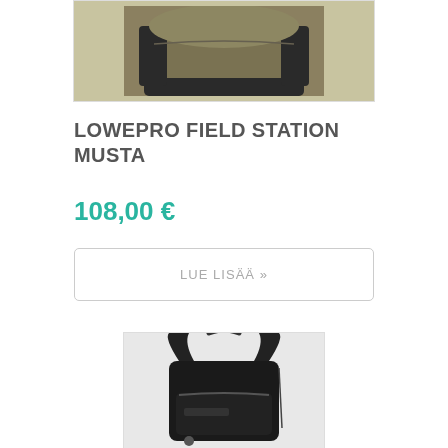[Figure (photo): Top portion of an olive/khaki colored camera backpack with black trim, cropped at the top]
LOWEPRO FIELD STATION MUSTA
108,00 €
LUE LISÄÄ »
[Figure (photo): Black camera backpack (Lowepro) shown from a three-quarter front angle, with straps and zipper details visible]